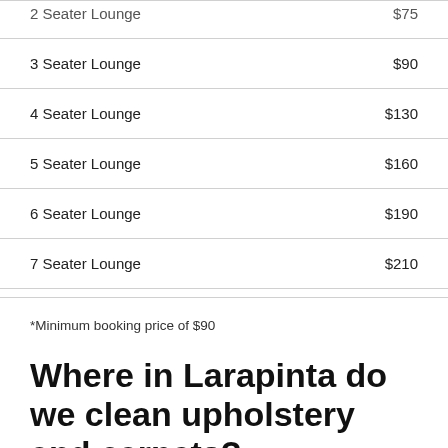| Item | Price |
| --- | --- |
| 2 Seater Lounge | $75 |
| 3 Seater Lounge | $90 |
| 4 Seater Lounge | $130 |
| 5 Seater Lounge | $160 |
| 6 Seater Lounge | $190 |
| 7 Seater Lounge | $210 |
*Minimum booking price of $90
Where in Larapinta do we clean upholstery and carpets?